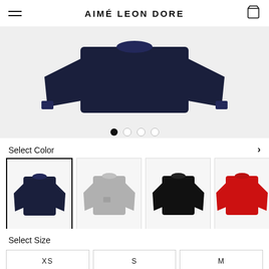AIMÉ LEON DORE
[Figure (photo): Navy blue crew neck sweater/sweatshirt laid flat, showing upper body and arms folded, on light grey background]
[Figure (infographic): Four navigation dots: first dot filled black, remaining three empty/outline circles]
Select Color
[Figure (photo): Four color variant swatches of a crew neck sweater: navy blue (selected, with border), grey, black, and red (partially visible)]
Select Size
XS   S   M